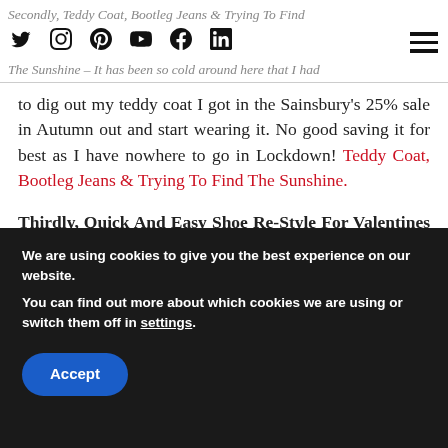Secondly, Teddy Coat, Bootleg Jeans & Trying To Find The Sunshine – It has been so cold around here that I had
to dig out my teddy coat I got in the Sainsbury's 25% sale in Autumn out and start wearing it. No good saving it for best as I have nowhere to go in Lockdown! Teddy Coat, Bootleg Jeans & Trying To Find The Sunshine.
Thirdly, Quick And Easy Shoe Re-Style For Valentines Day. All you need is love…A quick re-fashion for Valentines day… So today I am re-sharing one of my
We are using cookies to give you the best experience on our website.
You can find out more about which cookies we are using or switch them off in settings.
Accept